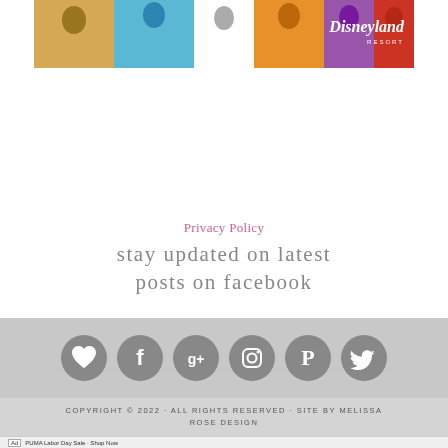[Figure (photo): Disneyland promotional banner image showing colorful-dressed figures with Disneyland logo in white italic text on the right side]
Privacy Policy
stay updated on latest posts on facebook
[Figure (infographic): Social media icons row: heart, Facebook, Google+, Instagram, Pinterest, Twitter — all gray circular buttons on a gray background bar]
COPYRIGHT © 2022 · ALL RIGHTS RESERVED · SITE BY MELISSA ROSE DESIGN
[Figure (photo): Ad banner: PUMA Labor Day Sale advertisement with shop now button]